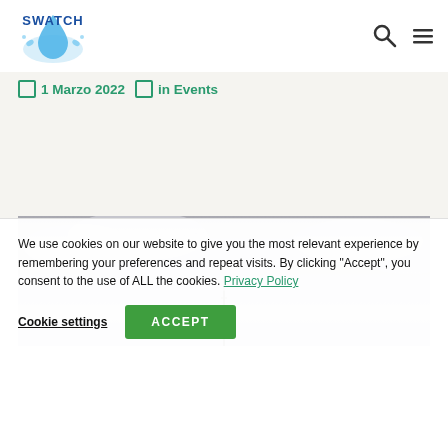SWATCH [logo with water droplet]
1 Marzo 2022  in Events
[Figure (photo): Overcast sky with an antenna or tower silhouette visible against grey clouds]
We use cookies on our website to give you the most relevant experience by remembering your preferences and repeat visits. By clicking “Accept”, you consent to the use of ALL the cookies. Privacy Policy
Cookie settings   ACCEPT